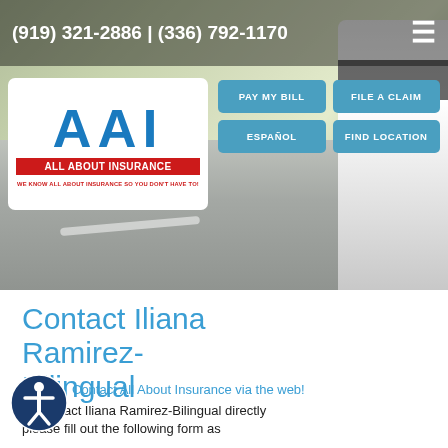(919) 321-2886 | (336) 792-1170
[Figure (logo): AAI All About Insurance logo with red banner and tagline 'We know all about insurance so you don't have to!']
[Figure (photo): Blurred background photo of a road and white car, used as hero image]
PAY MY BILL
FILE A CLAIM
ESPAÑOL
FIND LOCATION
Contact Iliana Ramirez-Bilingual
Contact All About Insurance via the web!
To contact Iliana Ramirez-Bilingual directly please fill out the following form as